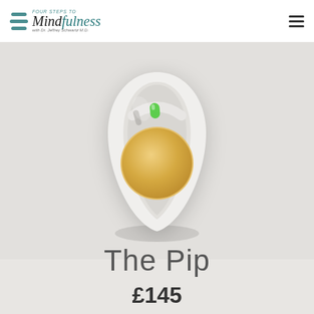Four Steps to Mindfulness with Dr. Jeffrey Schwartz M.D.
[Figure (photo): Product photo of The Pip device — a white teardrop-shaped wearable with a golden circular sensor pad and a small green indicator light at the top, on a light gray background.]
The Pip
£145